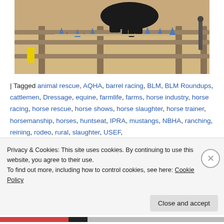[Figure (photo): Photo of a horse in a sand arena with blue cones and a wooden fence, viewed from the side]
| Tagged animal rescue, AQHA, barrel racing, BLM, BLM Roundups, cattlemen, Dressage, equine, farmlife, farms, horse industry, horse racing, horse rescue, horse shows, horse slaughter, horse trainer, horsemanship, horses, huntseat, IPRA, mustangs, NBHA, ranching, reining, rodeo, rural, slaughter, USEF,
Privacy & Cookies: This site uses cookies. By continuing to use this website, you agree to their use.
To find out more, including how to control cookies, see here: Cookie Policy
Close and accept